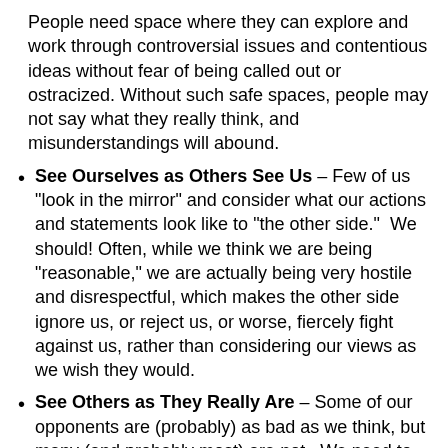People need space where they can explore and work through controversial issues and contentious ideas without fear of being called out or ostracized. Without such safe spaces, people may not say what they really think, and misunderstandings will abound.
See Ourselves as Others See Us – Few of us "look in the mirror" and consider what our actions and statements look like to "the other side."  We should! Often, while we think we are being "reasonable," we are actually being very hostile and disrespectful, which makes the other side ignore us, or reject us, or worse, fiercely fight against us, rather than considering our views as we wish they would.
See Others as They Really Are – Some of our opponents are (probably) as bad as we think, but many (and probably most) are not.  We need to make the effort to see people as individuals, not just as caricatures of the worst aspects of "their group"